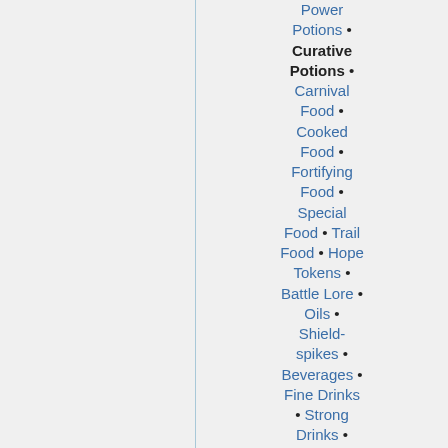Power Potions • Curative Potions • Carnival Food • Cooked Food • Fortifying Food • Special Food • Trail Food • Hope Tokens • Battle Lore • Oils • Shield-spikes • Beverages • Fine Drinks • Strong Drinks •